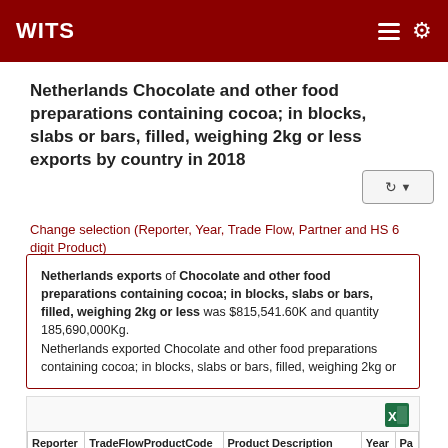WITS
Netherlands Chocolate and other food preparations containing cocoa; in blocks, slabs or bars, filled, weighing 2kg or less exports by country in 2018
Change selection (Reporter, Year, Trade Flow, Partner and HS 6 digit Product)
Netherlands exports of Chocolate and other food preparations containing cocoa; in blocks, slabs or bars, filled, weighing 2kg or less was $815,541.60K and quantity 185,690,000Kg. Netherlands exported Chocolate and other food preparations containing cocoa; in blocks, slabs or bars, filled, weighing 2kg or
| Reporter | TradeFlowProductCode | Product Description | Year | Pa |
| --- | --- | --- | --- | --- |
|  |  | Chocolate and other food |  |  |